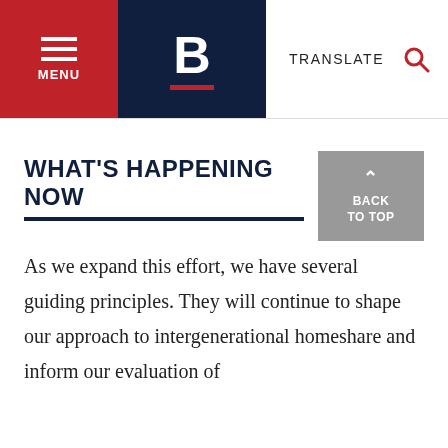MENU | B | TRANSLATE
WHAT'S HAPPENING NOW
As we expand this effort, we have several guiding principles. They will continue to shape our approach to intergenerational homeshare and inform our evaluation of